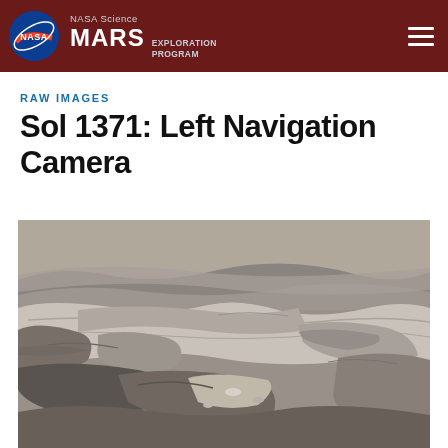NASA Science MARS EXPLORATION PROGRAM
RAW IMAGES
Sol 1371: Left Navigation Camera
[Figure (photo): Black and white photograph taken by the Curiosity rover's Left Navigation Camera on Sol 1371, showing the rocky Martian surface with layered rock formations and geological features.]